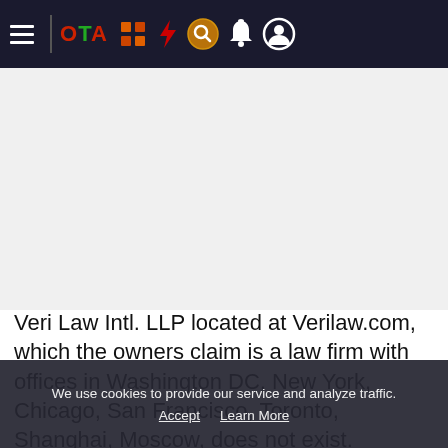OTA navigation bar with hamburger menu, OTA logo, and icons
[Figure (screenshot): Blank white/grey advertisement or content area below the navigation bar]
Veri Law Intl. LLP located at Verilaw.com, which the owners claim is a law firm with offices in Washington DC, New York, Chicago, San Francisco, Toronto, Shanghai, Moscow, does not exist. Therefore, recipients of email messages like the one below from lawyers from the same so-called law firm
We use cookies to provide our service and analyze traffic. Accept  Learn More